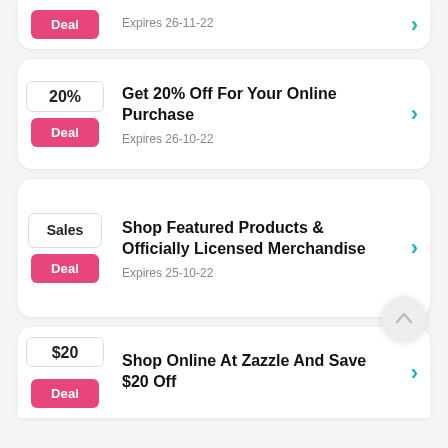Deal | Expires 26-11-22
20% | Deal | Get 20% Off For Your Online Purchase | Expires 26-10-22
Sales | Deal | Shop Featured Products & Officially Licensed Merchandise | Expires 25-10-22
$20 | Deal | Shop Online At Zazzle And Save $20 Off